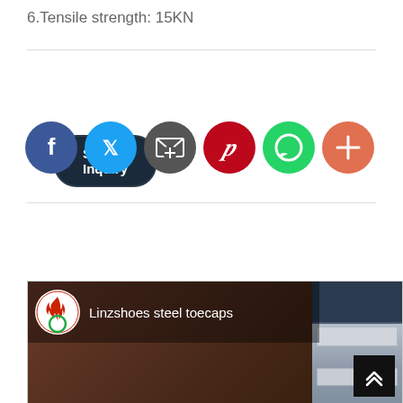6.Tensile strength: 15KN
Send Inquiry
[Figure (screenshot): Six social media share icon buttons: Facebook (blue), Twitter (light blue), Email (dark gray), Pinterest (red), WhatsApp (green), More/Add (orange-red)]
Product Details
[Figure (screenshot): Video thumbnail showing Linzshoes steel toecaps brand logo and text overlay on a dark brownish background, with a partial warehouse/factory photo on the right side and a scroll-up button]